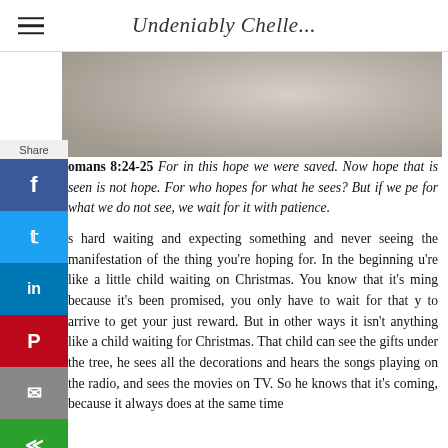Undeniably Chelle...
[Figure (photo): Close-up photo of concentric arc patterns drawn in sand, beige/tan tones]
Share
Romans 8:24-25 For in this hope we were saved. Now hope that is seen is not hope. For who hopes for what he sees? But if we hope for what we do not see, we wait for it with patience.
It's hard waiting and expecting something and never seeing the manifestation of the thing you're hoping for. In the beginning you're like a little child waiting on Christmas. You know that it's coming because it's been promised, you only have to wait for that day to arrive to get your just reward. But in other ways it isn't anything like a child waiting for Christmas. That child can see the gifts under the tree, he sees all the decorations and hears the songs playing on the radio, and sees the movies on TV. So he knows that it's coming, because it always does at the same time